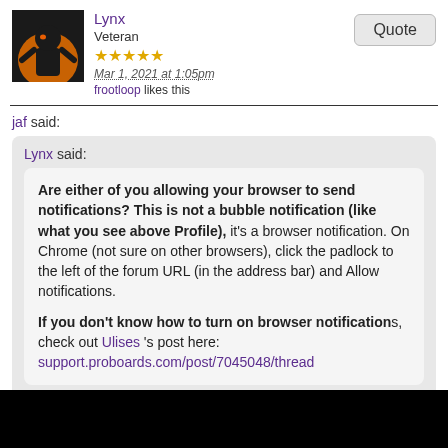Lynx | Veteran | Mar 1, 2021 at 1:05pm | frootloop likes this
jaf said:
Lynx said:
Are either of you allowing your browser to send notifications? This is not a bubble notification (like what you see above Profile), it's a browser notification. On Chrome (not sure on other browsers), click the padlock to the left of the forum URL (in the address bar) and Allow notifications.

If you don't know how to turn on browser notifications, check out Ulises 's post here: support.proboards.com/post/7045048/thread
Lynx said:
frootloop ,